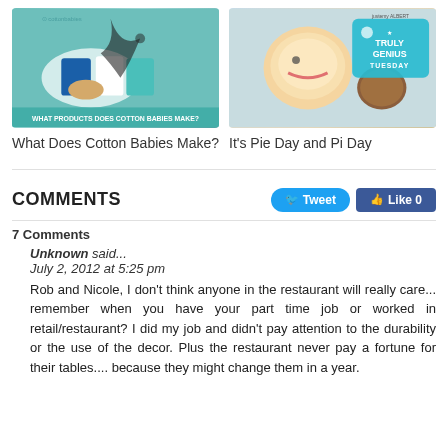[Figure (photo): Photo of cotton baby products including cloth diapers and a necklace on teal background with text 'WHAT PRODUCTS DOES COTTON BABIES MAKE?']
What Does Cotton Babies Make?
[Figure (photo): Photo of a laughing baby with a pie and a teal 'TRULY GENIUS TUESDAY' badge overlay, by justemy Albert]
It's Pie Day and Pi Day
COMMENTS
Tweet
Like 0
7 Comments
Unknown said...
July 2, 2012 at 5:25 pm
Rob and Nicole, I don't think anyone in the restaurant will really care... remember when you have your part time job or worked in retail/restaurant? I did my job and didn't pay attention to the durability or the use of the decor. Plus the restaurant never pay a fortune for their tables.... because they might change them in a year.